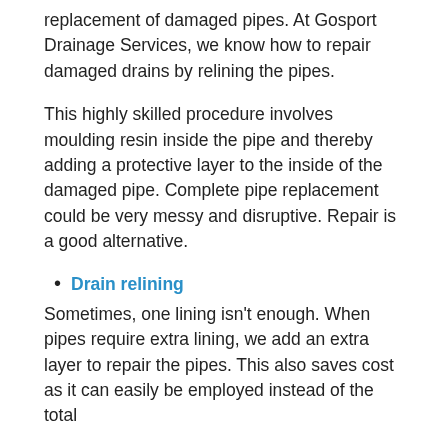replacement of damaged pipes. At Gosport Drainage Services, we know how to repair damaged drains by relining the pipes.
This highly skilled procedure involves moulding resin inside the pipe and thereby adding a protective layer to the inside of the damaged pipe. Complete pipe replacement could be very messy and disruptive. Repair is a good alternative.
Drain relining
Sometimes, one lining isn't enough. When pipes require extra lining, we add an extra layer to repair the pipes. This also saves cost as it can easily be employed instead of the total